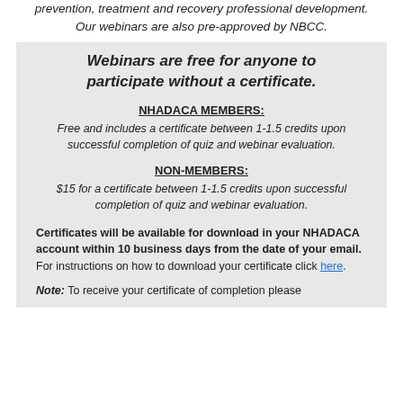prevention, treatment and recovery professional development. Our webinars are also pre-approved by NBCC.
Webinars are free for anyone to participate without a certificate.
NHADACA MEMBERS:
Free and includes a certificate between 1-1.5 credits upon successful completion of quiz and webinar evaluation.
NON-MEMBERS:
$15 for a certificate between 1-1.5 credits upon successful completion of quiz and webinar evaluation.
Certificates will be available for download in your NHADACA account within 10 business days from the date of your email. For instructions on how to download your certificate click here.
Note: To receive your certificate of completion please